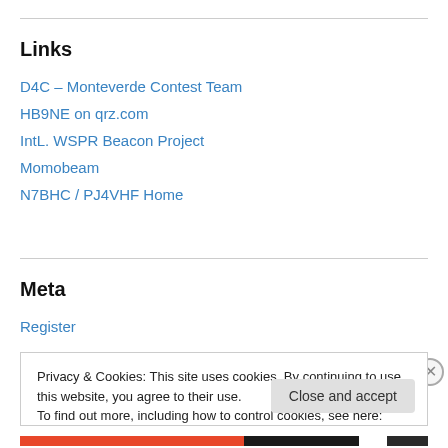Links
D4C – Monteverde Contest Team
HB9NE on qrz.com
IntL. WSPR Beacon Project
Momobeam
N7BHC / PJ4VHF Home
Meta
Register
Privacy & Cookies: This site uses cookies. By continuing to use this website, you agree to their use. To find out more, including how to control cookies, see here: Cookie Policy
Close and accept